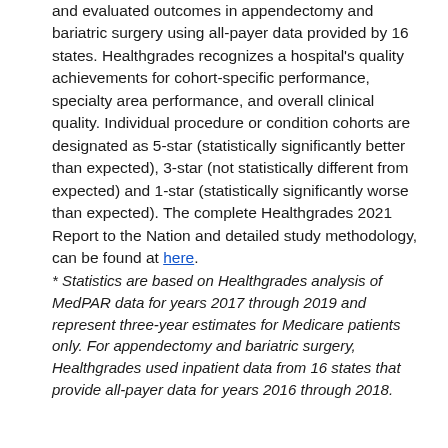and evaluated outcomes in appendectomy and bariatric surgery using all-payer data provided by 16 states. Healthgrades recognizes a hospital's quality achievements for cohort-specific performance, specialty area performance, and overall clinical quality. Individual procedure or condition cohorts are designated as 5-star (statistically significantly better than expected), 3-star (not statistically different from expected) and 1-star (statistically significantly worse than expected). The complete Healthgrades 2021 Report to the Nation and detailed study methodology, can be found at here.
* Statistics are based on Healthgrades analysis of MedPAR data for years 2017 through 2019 and represent three-year estimates for Medicare patients only. For appendectomy and bariatric surgery, Healthgrades used inpatient data from 16 states that provide all-payer data for years 2016 through 2018.